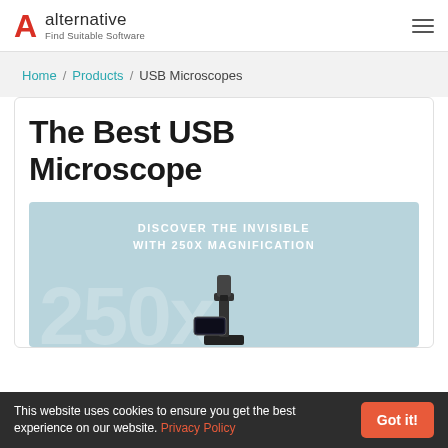alternative — Find Suitable Software
Home / Products / USB Microscopes
The Best USB Microscope
[Figure (photo): Product promotional image for USB Microscope showing 'DISCOVER THE INVISIBLE WITH 250X MAGNIFICATION' text on a light blue background with a large '250X' watermark and a microscope device]
This website uses cookies to ensure you get the best experience on our website. Privacy Policy Got it!